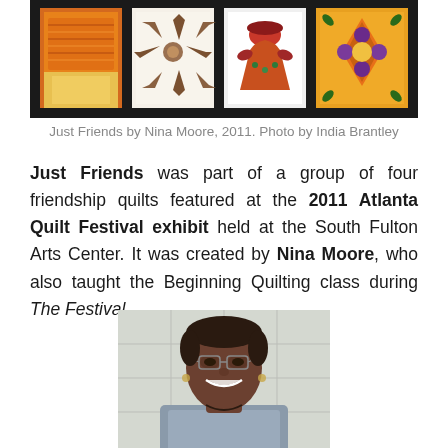[Figure (photo): Quilt display showing four friendship quilt blocks on a black background — an orange textured block, a brown/cream star pattern block, a red/green figure block, and an orange/purple floral block]
Just Friends by Nina Moore, 2011. Photo by India Brantley
Just Friends was part of a group of four friendship quilts featured at the 2011 Atlanta Quilt Festival exhibit held at the South Fulton Arts Center. It was created by Nina Moore, who also taught the Beginning Quilting class during The Festival.
[Figure (photo): Portrait photo of Nina Moore, a smiling African-American woman wearing glasses, with a tiled wall background]